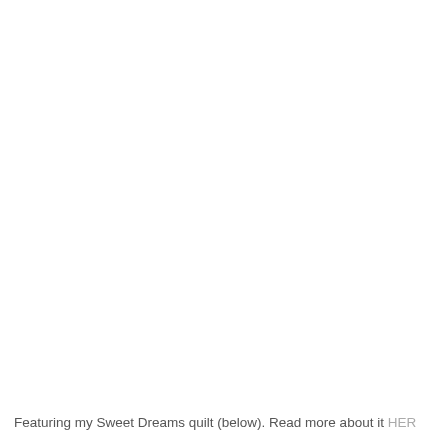Featuring my Sweet Dreams quilt (below). Read more about it HERE